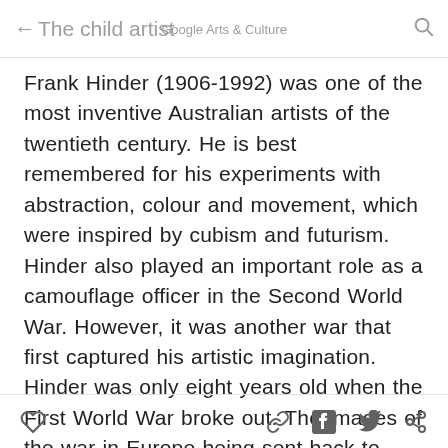← The child artist  Google Arts & Culture  🔍
Frank Hinder (1906-1992) was one of the most inventive Australian artists of the twentieth century. He is best remembered for his experiments with abstraction, colour and movement, which were inspired by cubism and futurism. Hinder also played an important role as a camouflage officer in the Second World War. However, it was another war that first captured his artistic imagination. Hinder was only eight years old when the First World War broke out. The images of the war in Europe being sent back to Australian shores obviously fascinated the young boy, and he filled sketchbooks with drawings of ships, castles, zeppelins and tanks. We can steal a glimpse of
♡  🔗  f  🐦  share